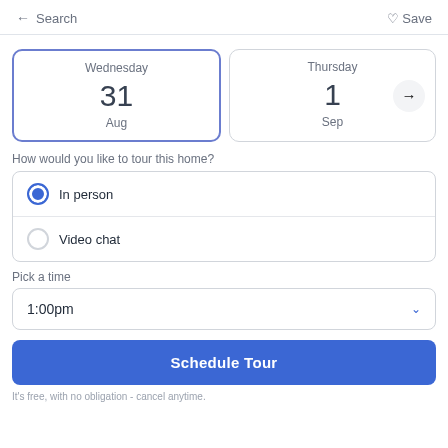← Search   ♡ Save
Wednesday 31 Aug
Thursday 1 Sep
How would you like to tour this home?
In person
Video chat
Pick a time
1:00pm
Schedule Tour
It's free, with no obligation - cancel anytime.